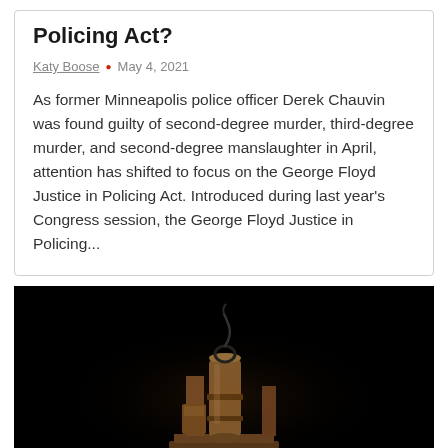Policing Act?
Katy Boose • May 4, 2021
As former Minneapolis police officer Derek Chauvin was found guilty of second-degree murder, third-degree murder, and second-degree manslaughter in April, attention has shifted to focus on the George Floyd Justice in Policing Act. Introduced during last year's Congress session, the George Floyd Justice in Policing...
[Figure (photo): Dark background photograph of what appears to be a wooden mechanical or sculptural object, possibly an electric chair or wooden apparatus, illuminated against a black background.]